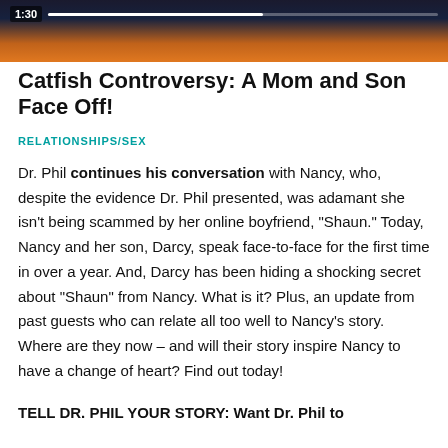[Figure (screenshot): Video thumbnail showing a dark scene with orange/warm tones, with a time indicator showing 1:30 in the top left corner]
Catfish Controversy: A Mom and Son Face Off!
RELATIONSHIPS/SEX
Dr. Phil continues his conversation with Nancy, who, despite the evidence Dr. Phil presented, was adamant she isn't being scammed by her online boyfriend, "Shaun." Today, Nancy and her son, Darcy, speak face-to-face for the first time in over a year. And, Darcy has been hiding a shocking secret about "Shaun" from Nancy. What is it? Plus, an update from past guests who can relate all too well to Nancy's story. Where are they now – and will their story inspire Nancy to have a change of heart? Find out today!
TELL DR. PHIL YOUR STORY: Want Dr. Phil to